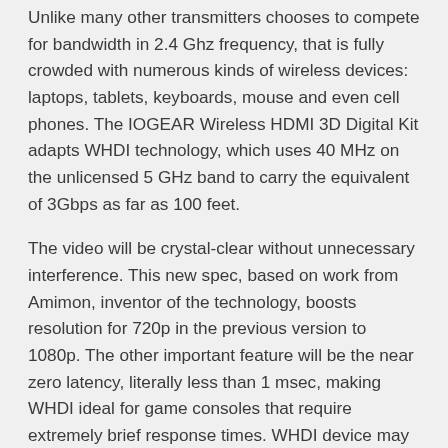Unlike many other transmitters chooses to compete for bandwidth in 2.4 Ghz frequency, that is fully crowded with numerous kinds of wireless devices: laptops, tablets, keyboards, mouse and even cell phones. The IOGEAR Wireless HDMI 3D Digital Kit adapts WHDI technology, which uses 40 MHz on the unlicensed 5 GHz band to carry the equivalent of 3Gbps as far as 100 feet.
The video will be crystal-clear without unnecessary interference. This new spec, based on work from Amimon, inventor of the technology, boosts resolution for 720p in the previous version to 1080p. The other important feature will be the near zero latency, literally less than 1 msec, making WHDI ideal for game consoles that require extremely brief response times. WHDI device may eliminate the need for video cables; they can also act as a wireless switcher, connecting multiple video sources to multiple HDTVs and displays.